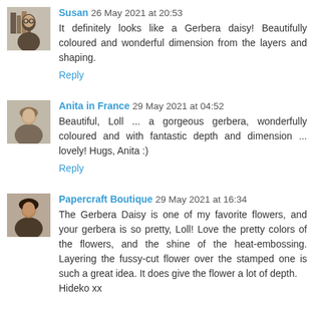Susan 26 May 2021 at 20:53 — It definitely looks like a Gerbera daisy! Beautifully coloured and wonderful dimension from the layers and shaping. Reply
Anita in France 29 May 2021 at 04:52 — Beautiful, Loll ... a gorgeous gerbera, wonderfully coloured and with fantastic depth and dimension ... lovely! Hugs, Anita :) Reply
Papercraft Boutique 29 May 2021 at 16:34 — The Gerbera Daisy is one of my favorite flowers, and your gerbera is so pretty, Loll! Love the pretty colors of the flowers, and the shine of the heat-embossing. Layering the fussy-cut flower over the stamped one is such a great idea. It does give the flower a lot of depth. Hideko xx